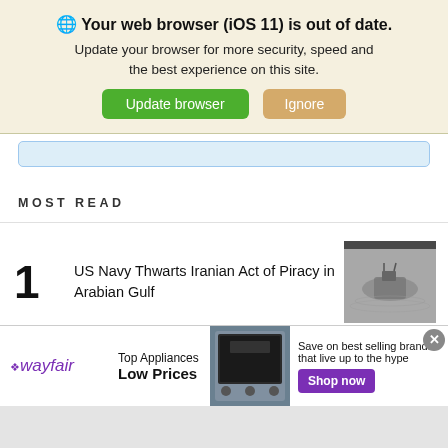[Figure (screenshot): Browser update notification banner with globe icon, bold text 'Your web browser (iOS 11) is out of date.', subtitle text, green 'Update browser' button and tan 'Ignore' button]
Your web browser (iOS 11) is out of date. Update your browser for more security, speed and the best experience on this site.
MOST READ
1 US Navy Thwarts Iranian Act of Piracy in Arabian Gulf
[Figure (photo): Aerial photo of a ship at sea, grayscale]
[Figure (photo): Partially visible photo, second article thumbnail]
[Figure (screenshot): Wayfair advertisement banner: wayfair logo, 'Top Appliances Low Prices', appliance image, 'Save on best selling brands that live up to the hype', purple 'Shop now' button]